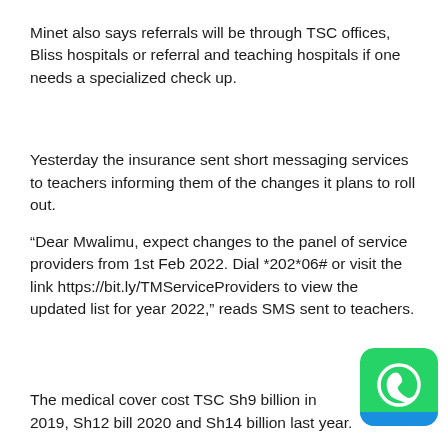Minet also says referrals will be through TSC offices, Bliss hospitals or referral and teaching hospitals if one needs a specialized check up.
Yesterday the insurance sent short messaging services to teachers informing them of the changes it plans to roll out.
“Dear Mwalimu, expect changes to the panel of service providers from 1st Feb 2022. Dial *202*06# or visit the link https://bit.ly/TMServiceProviders to view the updated list for year 2022,” reads SMS sent to teachers.
The medical cover cost TSC Sh9 billion in 2019, Sh12 bill 2020 and Sh14 billion last year.